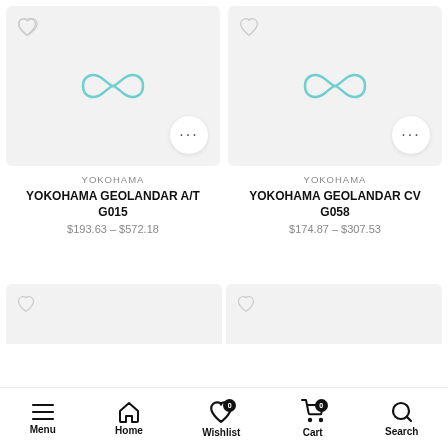[Figure (screenshot): Product listing card for YOKOHAMA GEOLANDAR A/T G015 with infinity-like logo on gray background, heart icon top-left, more button bottom-right]
YOKOHAMA
YOKOHAMA GEOLANDAR A/T G015
$193.63 – $572.18
[Figure (screenshot): Product listing card for YOKOHAMA GEOLANDAR CV G058 with infinity-like logo on gray background, heart icon top-left, more button bottom-right]
YOKOHAMA
YOKOHAMA GEOLANDAR CV G058
$174.87 – $307.53
Menu  Home  Wishlist 0  Cart 0  Search